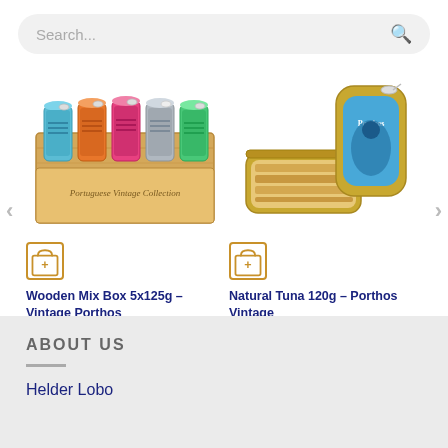Search...
[Figure (photo): Wooden box labeled 'Portuguese Vintage Collection' containing 5 colorful sardine tins with pull-top lids in blue, orange, pink, and green]
[Figure (photo): An open gold tin of natural tuna labeled 'Porthos Vintage' showing tuna slices inside, with the lid leaning behind it]
Wooden Mix Box 5x125g – Vintage Porthos
16,50 € VAT included
Natural Tuna 120g – Porthos Vintage
2,50 € VAT included
ABOUT US
Helder Lobo